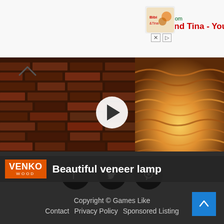[Figure (screenshot): Advertisement banner for Bibi and Tina YouTube channel with logo and red title text]
[Figure (screenshot): Video thumbnail showing wood/brick texture on left and illuminated wavy veneer lamp on right with play button overlay]
VENKO WOOD   Beautiful veneer lamp
Copyright © Games Like
Contact   Privacy Policy   Sponsored Listing